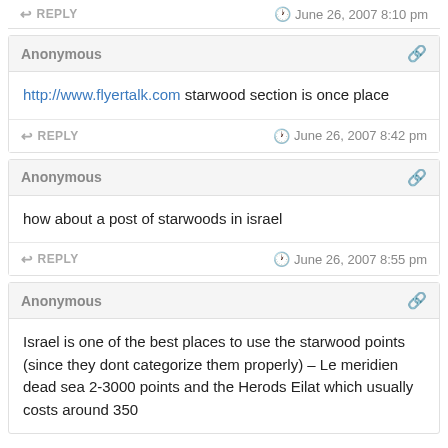REPLY   June 26, 2007 8:10 pm
Anonymous
http://www.flyertalk.com starwood section is once place
REPLY   June 26, 2007 8:42 pm
Anonymous
how about a post of starwoods in israel
REPLY   June 26, 2007 8:55 pm
Anonymous
Israel is one of the best places to use the starwood points (since they dont categorize them properly) – Le meridien dead sea 2-3000 points and the Herods Eilat which usually costs around 350